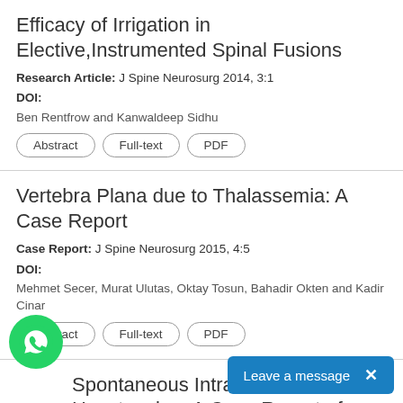Efficacy of Irrigation in Elective,Instrumented Spinal Fusions
Research Article: J Spine Neurosurg 2014, 3:1
DOI:
Ben Rentfrow and Kanwaldeep Sidhu
Abstract
Full-text
PDF
Vertebra Plana due to Thalassemia: A Case Report
Case Report: J Spine Neurosurg 2015, 4:5
DOI:
Mehmet Secer, Murat Ulutas, Oktay Tosun, Bahadir Okten and Kadir Cinar
Abstract
Full-text
PDF
Spontaneous Intracranial Hypotension: A Case Report of Non-targeted Epidural Blood Patch Treatment
Short Communication: J Spine Neu